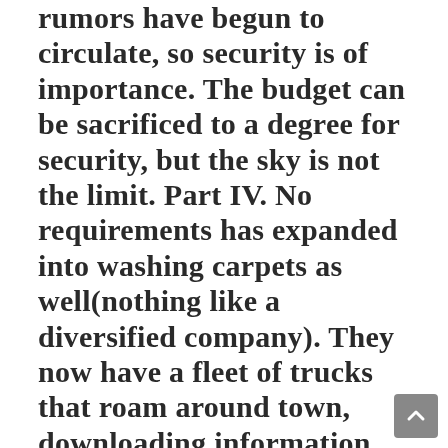rumors have begun to circulate, so security is of importance. The budget can be sacrificed to a degree for security, but the sky is not the limit. Part IV. No requirements has expanded into washing carpets as well(nothing like a diversified company). They now have a fleet of trucks that roam around town, downloading information between the head office